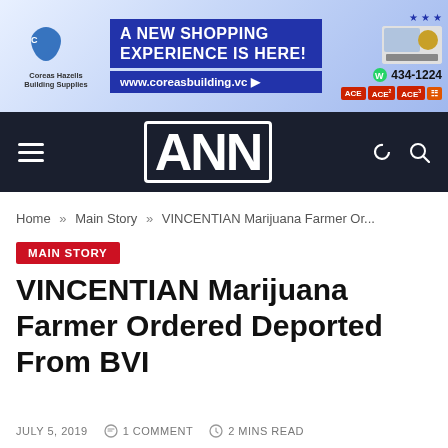[Figure (other): Coreas Hazells Building Supplies advertisement banner: 'A NEW SHOPPING EXPERIENCE IS HERE! www.coreasbuilding.vc' with ACE logos and phone number 434-1224]
ANN
Home » Main Story » VINCENTIAN Marijuana Farmer Or...
MAIN STORY
VINCENTIAN Marijuana Farmer Ordered Deported From BVI
JULY 5, 2019   1 COMMENT   2 MINS READ